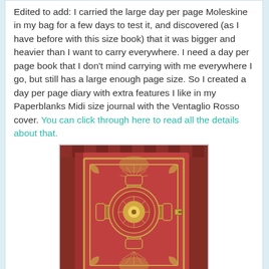Edited to add: I carried the large day per page Moleskine in my bag for a few days to test it, and discovered (as I have before with this size book) that it was bigger and heavier than I want to carry everywhere. I need a day per page book that I don't mind carrying with me everywhere I go, but still has a large enough page size. So I created a day per page diary with extra features I like in my Paperblanks Midi size journal with the Ventaglio Rosso cover. You can click through here to read all the details about that.
[Figure (photo): Photo of a Paperblanks Midi size journal with the Ventaglio Rosso cover — a red and gold ornate book cover with decorative cross and circular mandala motifs, placed on a patterned red carpet/rug background.]